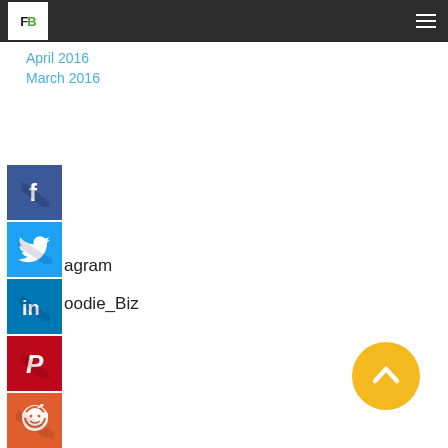FB (logo) | hamburger menu
April 2016
March 2016
[Figure (logo): Facebook icon button (blue square with white F)]
[Figure (logo): Twitter icon button (cyan square with white bird)]
agram
[Figure (logo): LinkedIn icon button (blue square with white in)]
oodie_Biz
[Figure (logo): Pinterest icon button (red square with white P)]
[Figure (logo): Reddit icon button (orange-red square with white alien mascot)]
[Figure (illustration): Yellow circle with white upward chevron arrow]